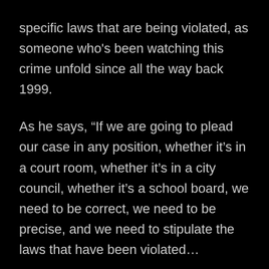specific laws that are being violated, as someone who's been watching this crime unfold since all the way back 1999.
As he says, “If we are going to plead our case in any position, whether it’s in a court room, whether it’s in a city council, whether it’s a school board, we need to be correct, we need to be precise, and we need to stipulate the laws that have been violated…
“I’m showing you these things, People, because they weren’t taught to you in history lessons in